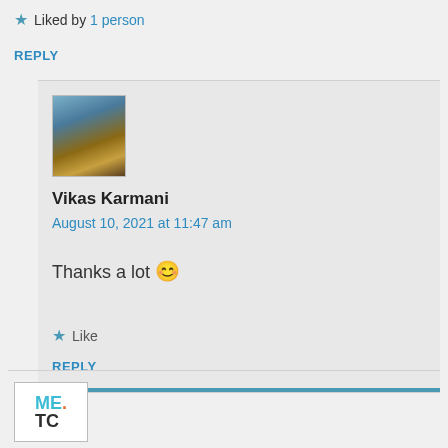★ Liked by 1 person
REPLY
[Figure (photo): Avatar photo of Vikas Karmani, person standing outdoors near water]
Vikas Karmani
August 10, 2021 at 11:47 am
Thanks a lot 😊
★ Like
REPLY
[Figure (logo): ME. TC logo partially visible at bottom]